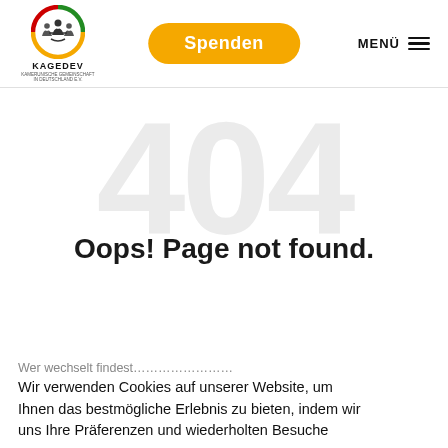[Figure (logo): KAGEDEV logo with circular icon featuring people silhouettes and the text KAGEDEV below]
Spenden
MENÜ
404
Oops! Page not found.
Wir verwenden Cookies auf unserer Website, um Ihnen das bestmögliche Erlebnis zu bieten, indem wir uns Ihre Präferenzen und wiederholten Besuche